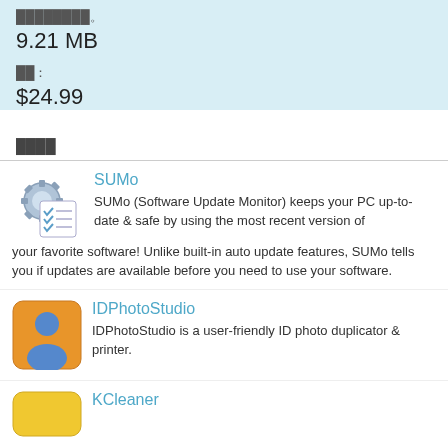████████:
9.21 MB
██:
$24.99
████
SUMo
SUMo (Software Update Monitor) keeps your PC up-to-date & safe by using the most recent version of your favorite software! Unlike built-in auto update features, SUMo tells you if updates are available before you need to use your software.
IDPhotoStudio
IDPhotoStudio is a user-friendly ID photo duplicator & printer.
KCleaner